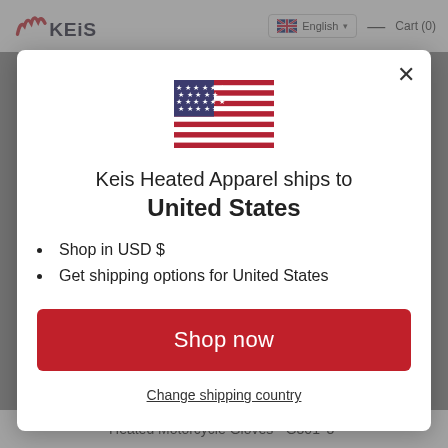KEIS | English | Cart (0)
[Figure (screenshot): Modal dialog on the Keis Heated Apparel website showing a US flag, shipping destination message, bullet points, Shop now button, and Change shipping country link]
Keis Heated Apparel ships to United States
Shop in USD $
Get shipping options for United States
Shop now
Change shipping country
Heated Motorcycle Gloves - G301 '3-